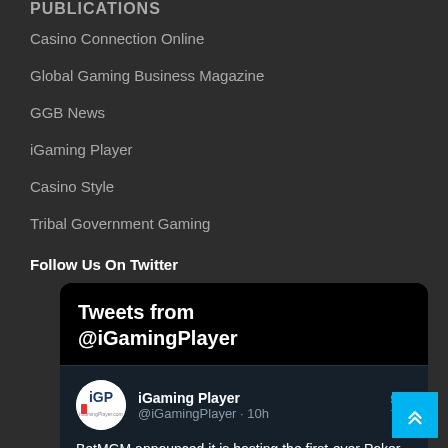PUBLICATIONS
Casino Connection Online
Global Gaming Business Magazine
GGB News
iGaming Player
Casino Style
Tribal Government Gaming
Follow Us On Twitter
[Figure (screenshot): Twitter widget showing Tweets from @iGamingPlayer, with iGaming Player tweet handle and start of tweet: BetMGM announced it is hosting the first-ever Poker State Championships]